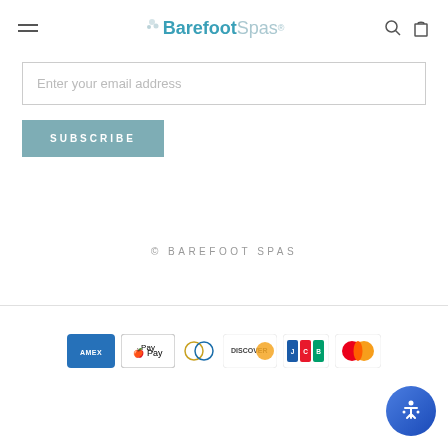Barefoot Spas — navigation header with hamburger menu, logo, search and cart icons
Enter your email address
SUBSCRIBE
© BAREFOOT SPAS
[Figure (logo): Payment method icons: American Express, Apple Pay, Diners Club, Discover, JCB, Mastercard]